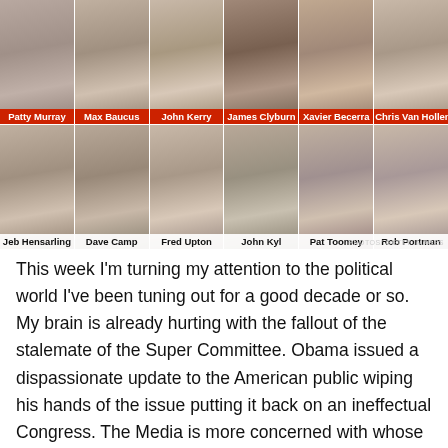[Figure (photo): Grid of 12 politicians' headshots arranged in 2 rows of 6. Top row (left to right): Patty Murray, Max Baucus, John Kerry, James Clyburn, Xavier Becerra, Chris Van Hollen. Bottom row: Jeb Hensarling, Dave Camp, Fred Upton, John Kyl, Pat Toomey, Rob Portman. Each photo has a name label, top row in red band, bottom row in white band. Photo credit: PHOTOS/ GETTY IMAGES]
This week I'm turning my attention to the political world I've been tuning out for a good decade or so. My brain is already hurting with the fallout of the stalemate of the Super Committee. Obama issued a dispassionate update to the American public wiping his hands of the issue putting it back on an ineffectual Congress. The Media is more concerned with whose fault our current predicament